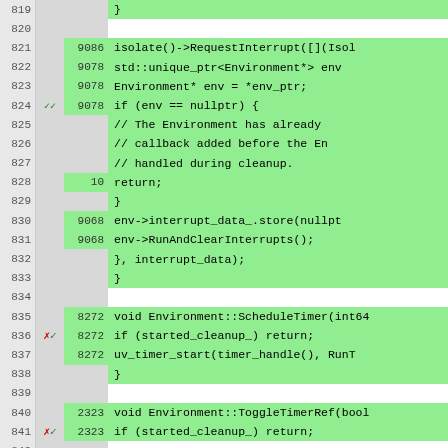[Figure (screenshot): Code coverage viewer showing C++ source lines 819-845, with green highlighted covered lines, hit counts, and coverage marks (checkmarks and X marks). Code relates to Node.js Environment class methods: RequestInterrupt, ScheduleTimer, ToggleTimerRef.]